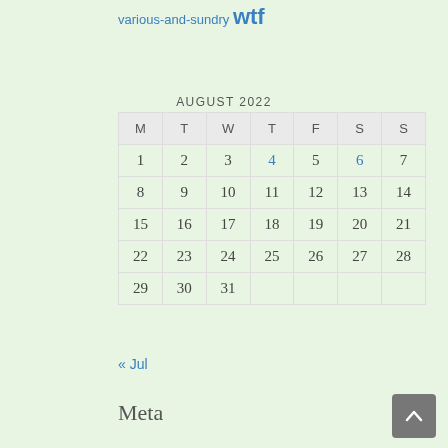various-and-sundry wtf
| M | T | W | T | F | S | S |
| --- | --- | --- | --- | --- | --- | --- |
| 1 | 2 | 3 | 4 | 5 | 6 | 7 |
| 8 | 9 | 10 | 11 | 12 | 13 | 14 |
| 15 | 16 | 17 | 18 | 19 | 20 | 21 |
| 22 | 23 | 24 | 25 | 26 | 27 | 28 |
| 29 | 30 | 31 |  |  |  |  |
« Jul
Meta